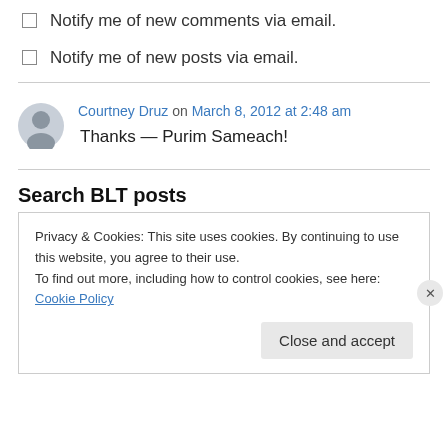Notify me of new comments via email.
Notify me of new posts via email.
Courtney Druz on March 8, 2012 at 2:48 am
Thanks — Purim Sameach!
Search BLT posts
Privacy & Cookies: This site uses cookies. By continuing to use this website, you agree to their use.
To find out more, including how to control cookies, see here: Cookie Policy
Close and accept